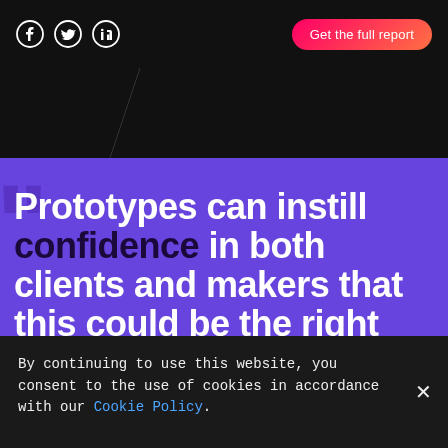Social icons (Facebook, Twitter, LinkedIn) | Get the full report
Prototypes can instill confidence in both clients and makers that this could be the right
By continuing to use this website, you consent to the use of cookies in accordance with our Cookie Policy.